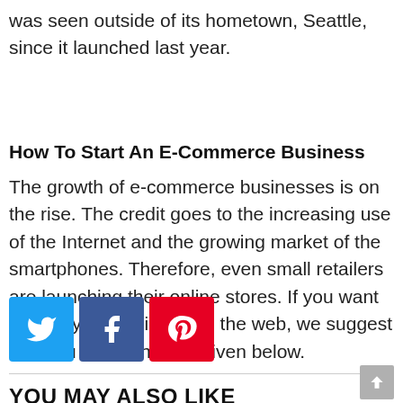was seen outside of its hometown, Seattle, since it launched last year.
How To Start An E-Commerce Business
The growth of e-commerce businesses is on the rise. The credit goes to the increasing use of the Internet and the growing market of the smartphones. Therefore, even small retailers are launching their online stores. If you want to start your business on the web, we suggest that you follow the tips given below.
[Figure (infographic): Three social share buttons: Twitter (blue), Facebook (dark blue), Pinterest (red)]
YOU MAY ALSO LIKE